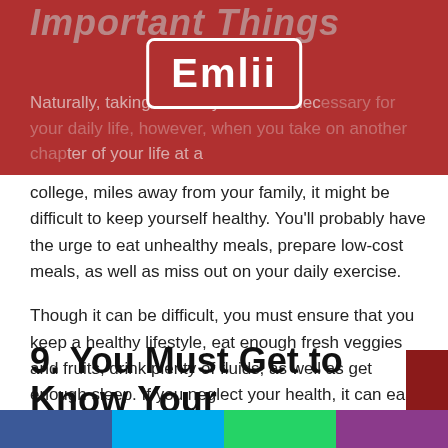Important Things
[Figure (logo): Emlii logo — white text on dark red background with white rounded rectangle border]
Naturally, taking care of yourself is necessary for your daily life, however, when you take on another chapter of your life at a college, miles away from your family, it might be difficult to keep yourself healthy. You'll probably have the urge to eat unhealthy meals, prepare low-cost meals, as well as miss out on your daily exercise.
Though it can be difficult, you must ensure that you keep a healthy lifestyle, eat enough fresh veggies and fruits, drink plenty of fluids, as well as get enough sleep. If you neglect your health, it can easily influence everything else in your life, including the ability to study, which is something you'll definitely want to avoid.
9. You Must Get to Know Your